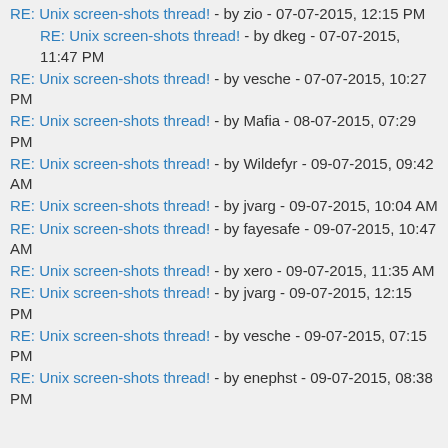RE: Unix screen-shots thread! - by zio - 07-07-2015, 12:15 PM (truncated at top)
RE: Unix screen-shots thread! - by dkeg - 07-07-2015, 11:47 PM
RE: Unix screen-shots thread! - by vesche - 07-07-2015, 10:27 PM
RE: Unix screen-shots thread! - by Mafia - 08-07-2015, 07:29 PM
RE: Unix screen-shots thread! - by Wildefyr - 09-07-2015, 09:42 AM
RE: Unix screen-shots thread! - by jvarg - 09-07-2015, 10:04 AM
RE: Unix screen-shots thread! - by fayesafe - 09-07-2015, 10:47 AM
RE: Unix screen-shots thread! - by xero - 09-07-2015, 11:35 AM
RE: Unix screen-shots thread! - by jvarg - 09-07-2015, 12:15 PM
RE: Unix screen-shots thread! - by vesche - 09-07-2015, 07:15 PM
RE: Unix screen-shots thread! - by enephst - 09-07-2015, 08:38 PM